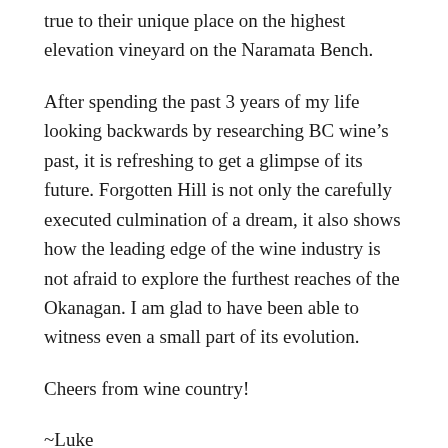true to their unique place on the highest elevation vineyard on the Naramata Bench.
After spending the past 3 years of my life looking backwards by researching BC wine’s past, it is refreshing to get a glimpse of its future. Forgotten Hill is not only the carefully executed culmination of a dream, it also shows how the leading edge of the wine industry is not afraid to explore the furthest reaches of the Okanagan. I am glad to have been able to witness even a small part of its evolution.
Cheers from wine country!
~Luke